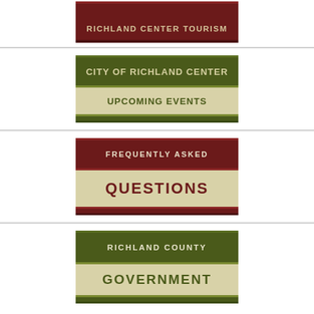[Figure (logo): Richland Center Tourism banner with dark red/maroon background and beige text]
[Figure (logo): City of Richland Center Upcoming Events banner with olive green and beige colors]
[Figure (logo): Frequently Asked Questions banner with dark red and beige colors]
[Figure (logo): Richland County Government banner with olive green and beige colors]